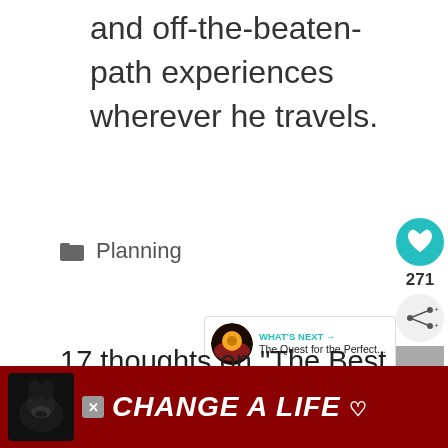and off-the-beaten-path experiences wherever he travels.
Planning
17 thoughts on “The Best Long-Term Travel Itinerary
[Figure (infographic): Social sidebar with heart button (teal, 271 likes), share button, and bookmark icon]
[Figure (infographic): What's Next widget showing a thumbnail and text 'The Quest for the Perfect...']
[Figure (infographic): Red advertisement banner with dog image and text 'CHANGE A LIFE' with heart icon and close button]